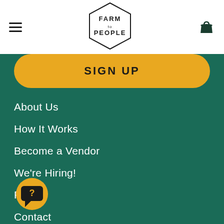Farm to People navigation header with hamburger menu and basket icon
[Figure (logo): Farm to People hexagonal logo with text FARM to PEOPLE inside]
SIGN UP
About Us
How It Works
Become a Vendor
We're Hiring!
FAQ
Contact
P...
Kitchen & Bar
[Figure (illustration): Orange circular help/chat bubble icon with question mark]